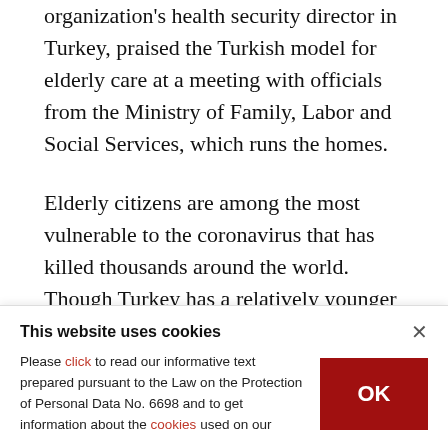organization's health security director in Turkey, praised the Turkish model for elderly care at a meeting with officials from the Ministry of Family, Labor and Social Services, which runs the homes.
Elderly citizens are among the most vulnerable to the coronavirus that has killed thousands around the world. Though Turkey has a relatively younger population compared to worst-hit countries like Italy, the elderly, especially those dependent on care, remain at risk.
This website uses cookies
Please click to read our informative text prepared pursuant to the Law on the Protection of Personal Data No. 6698 and to get information about the cookies used on our